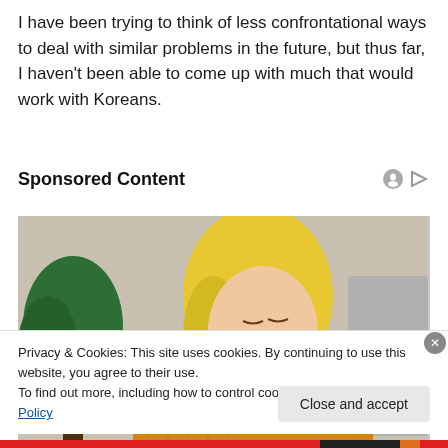I have been trying to think of less confrontational ways to deal with similar problems in the future, but thus far, I haven't been able to come up with much that would work with Koreans.
Sponsored Content
[Figure (photo): A blonde woman in a yellow knit sweater looking downward, with a green plant visible in the background]
Privacy & Cookies: This site uses cookies. By continuing to use this website, you agree to their use.
To find out more, including how to control cookies, see here: Cookie Policy